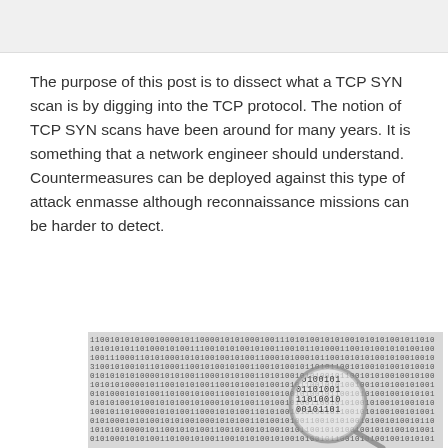The purpose of this post is to dissect what a TCP SYN scan is by digging into the TCP protocol. The notion of TCP SYN scans have been around for many years. It is something that a network engineer should understand. Countermeasures can be deployed against this type of attack enmasse although reconnaissance missions can be harder to detect.
[Figure (photo): A magnifying glass over binary code (0s and 1s) text on a page, symbolizing network scanning or data inspection.]